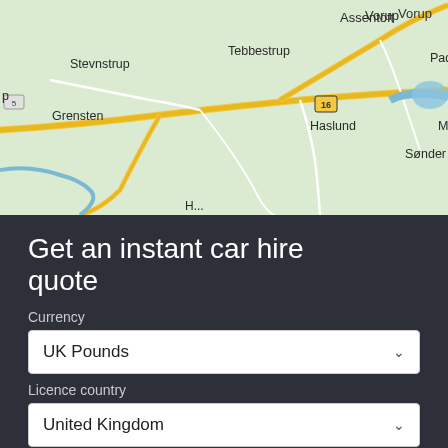[Figure (map): Road map showing Danish towns including Vorup, Assentoft, Stevnstrup, Tebbestrup, Paderup, Grensten, Haslund, Munkdrup, Sønder Borup with road network and highway 16 marked]
Get an instant car hire quote
Currency
UK Pounds
Licence country
United Kingdom
Driver's age
40